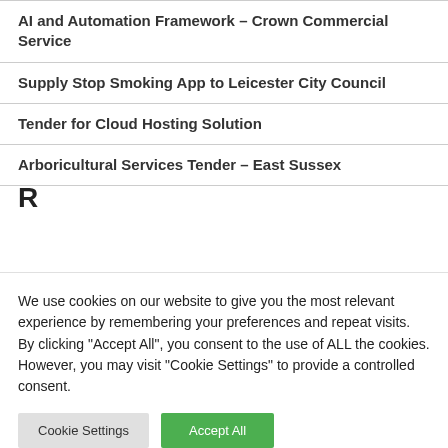AI and Automation Framework – Crown Commercial Service
Supply Stop Smoking App to Leicester City Council
Tender for Cloud Hosting Solution
Arboricultural Services Tender – East Sussex
We use cookies on our website to give you the most relevant experience by remembering your preferences and repeat visits. By clicking "Accept All", you consent to the use of ALL the cookies. However, you may visit "Cookie Settings" to provide a controlled consent.